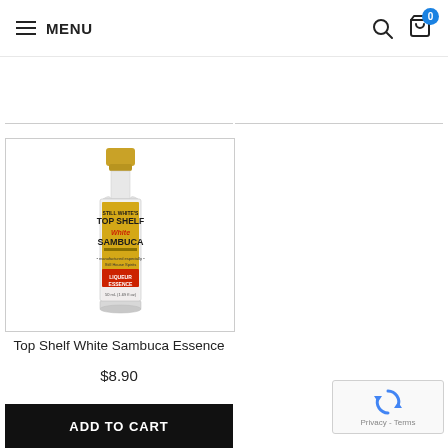MENU
ADD TO CART
ADD TO CART
[Figure (photo): Small bottle of Still Spirits Top Shelf White Sambuca Essence flavoring with gold cap and branded label]
Top Shelf White Sambuca Essence
$8.90
ADD TO CART